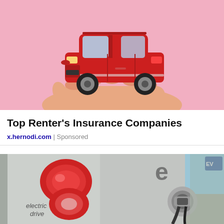[Figure (photo): A red SUV toy car being held in an open palm against a pink background — illustrating car insurance concept]
Top Renter's Insurance Companies
x.hernodi.com | Sponsored
[Figure (photo): Close-up of the rear of a silver Smart electric drive car being plugged in at a charging station, with red tail lights visible and a blue sign in the background]